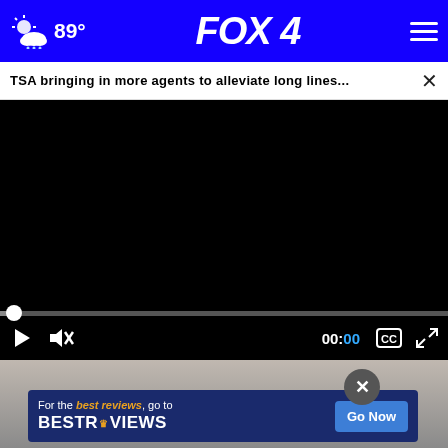FOX 4 — 89°
TSA bringing in more agents to alleviate long lines...
[Figure (screenshot): Black video player area with progress bar at bottom]
00:00
[Figure (photo): Photo of person partially visible below video player, with BestReviews advertisement overlay]
For the best reviews, go to BESTREVIEWS — Go Now